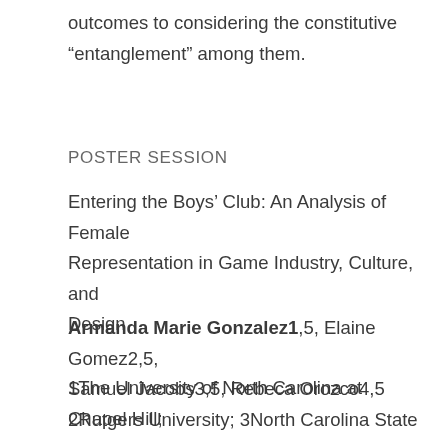outcomes to considering the constitutive "entanglement" among them.
POSTER SESSION
Entering the Boys’ Club: An Analysis of Female Representation in Game Industry, Culture, and Design
Armanda Marie Gonzalez1,5, Elaine Gomez2,5, Samuel Jacobs3,5, Rebeca Orozco4,5
1The University of North Carolina at Chapel Hill; 2Rutgers University; 3North Carolina State University; 4Washington State University; 5iSchool Inclusion Institute
Numerous studies have examined the role of